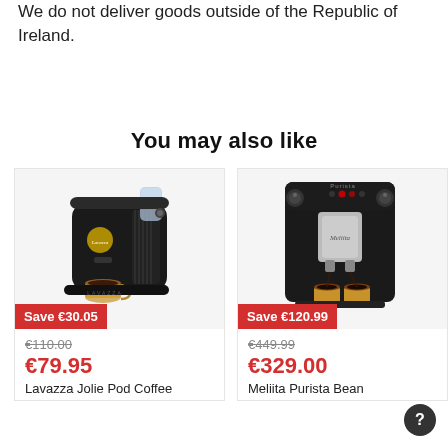We do not deliver goods outside of the Republic of Ireland.
You may also like
[Figure (photo): Lavazza Jolie Pod Coffee Machine in black with an espresso cup, showing a red Save badge with Save €30.05, original price €110.00, sale price €79.95, product name Lavazza Jolie Pod Coffee]
[Figure (photo): Meliita Purista Bean to Cup coffee machine in black with two espresso cups, showing a red Save badge with Save €120.99, original price €449.99, sale price €329.00, product name Meliita Purista Bean]